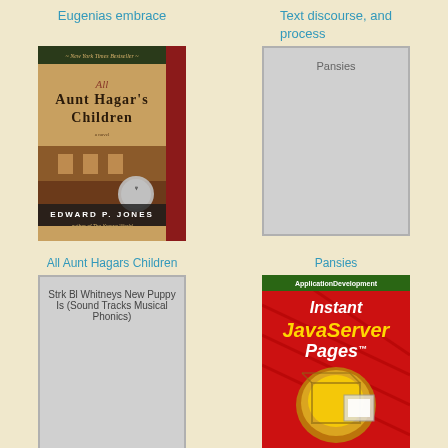Eugenias embrace
Text discourse, and process
[Figure (photo): Book cover: All Aunt Hagar's Children by Edward P. Jones, New York Times Bestseller]
[Figure (photo): Placeholder book cover showing title: Pansies]
All Aunt Hagars Children
Pansies
[Figure (photo): Placeholder book cover showing title: Strk Bl Whitneys New Puppy Is (Sound Tracks Musical Phonics)]
[Figure (photo): Book cover: Instant JavaServer Pages, ApplicationDevelopment]